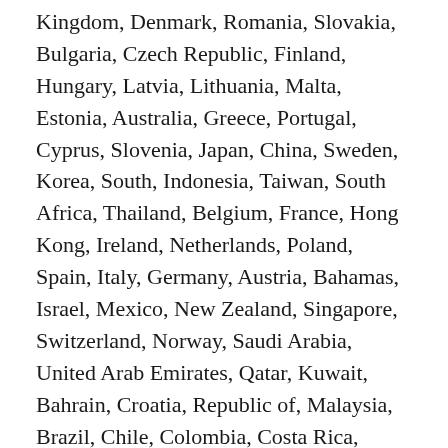Kingdom, Denmark, Romania, Slovakia, Bulgaria, Czech Republic, Finland, Hungary, Latvia, Lithuania, Malta, Estonia, Australia, Greece, Portugal, Cyprus, Slovenia, Japan, China, Sweden, Korea, South, Indonesia, Taiwan, South Africa, Thailand, Belgium, France, Hong Kong, Ireland, Netherlands, Poland, Spain, Italy, Germany, Austria, Bahamas, Israel, Mexico, New Zealand, Singapore, Switzerland, Norway, Saudi Arabia, United Arab Emirates, Qatar, Kuwait, Bahrain, Croatia, Republic of, Malaysia, Brazil, Chile, Colombia, Costa Rica, Dominican Republic, Panama, Trinidad and Tobago, Guatemala, El Salvador, Honduras, Jamaica, Antigua and Barbuda, Aruba, Belize, Dominica, Grenada, Saint Kitts-Nevis, Saint Lucia, Montserrat, Turks and Caicos Islands, Barbados, Bangladesh, Bermuda, Brunei Darussalam, Bolivia, Ecuador, Egypt, French Guiana, Guernsey, Gibraltar, Guadeloupe, Iceland, Jersey, Jordan, Cambodia, Cayman Islands, Liechtenstein, Sri Lanka, Luxembourg, Monaco, Macau, Martinique, Maldives, Nicaragua, Oman, Peru, Pakistan, Paraguay, Reunion, Vietnam, Uruguay,